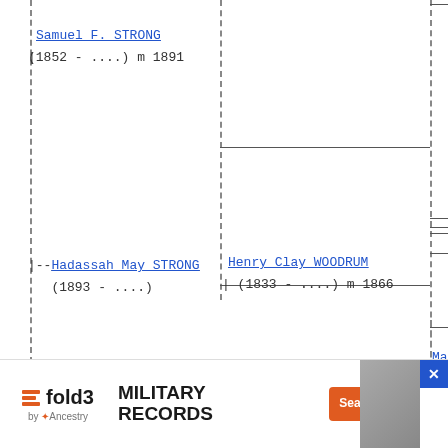[Figure (other): Genealogy family tree diagram showing ancestors and descendants with dashed vertical lines and horizontal connector lines]
Samuel F. STRONG
(1852 - ....) m 1891
--Hadassah May STRONG
(1893 - ....)
Henry Clay WOODRUM
(1833 - ....) m 1866
Mary B. (Wo
(1809 - ..
Nellie B... WOODRUM
(1868 ...
[Figure (screenshot): fold3 MILITARY RECORDS advertisement banner with Search Now button and X close button]